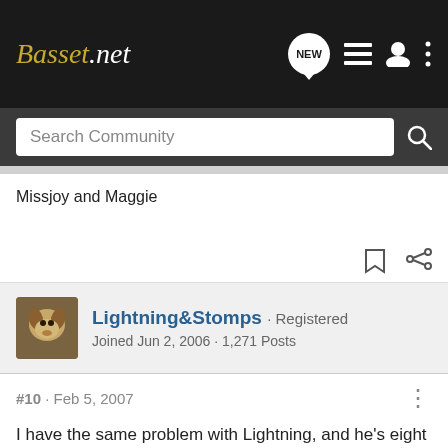Basset.net
Missjoy and Maggie
Lightning&Stomps · Registered
Joined Jun 2, 2006 · 1,271 Posts
#10 · Feb 5, 2007
I have the same problem with Lightning, and he's eight years old. So some dogs don't grow out of it. His idiosyncracies have always centered around eating, so I think at this point it's just habit with him. I'd wanted to try Forbid, but I didn't know that it had to be given to the dog with the delicious poop. Every dog in the neighborhood has no reason to make the donut.